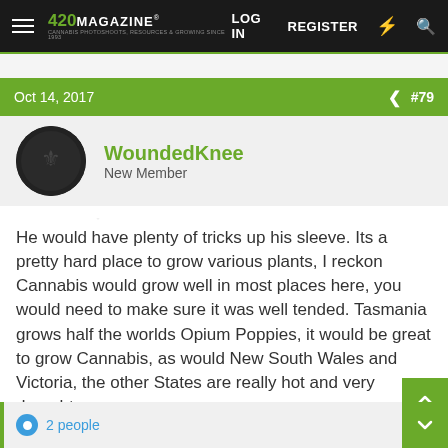420 MAGAZINE | LOG IN | REGISTER
Oct 14, 2017   #79
WoundedKnee
New Member
He would have plenty of tricks up his sleeve. Its a pretty hard place to grow various plants, I reckon Cannabis would grow well in most places here, you would need to make sure it was well tended. Tasmania grows half the worlds Opium Poppies, it would be great to grow Cannabis, as would New South Wales and Victoria, the other States are really hot and very drought prone.
2 people